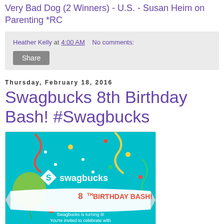Very Bad Dog (2 Winners) - U.S. - Susan Heim on Parenting *RC
Heather Kelly at 4:00 AM   No comments:
Share
Thursday, February 18, 2016
Swagbucks 8th Birthday Bash! #Swagbucks
[Figure (illustration): Swagbucks 8th Birthday Bash promotional image with teal background, confetti, balloons, swagbucks logo, and text: '8TH BIRTHDAY BASH! Swagbucks is turning 8! You're invited to celebrate with DOUBLE CASH BACK!']